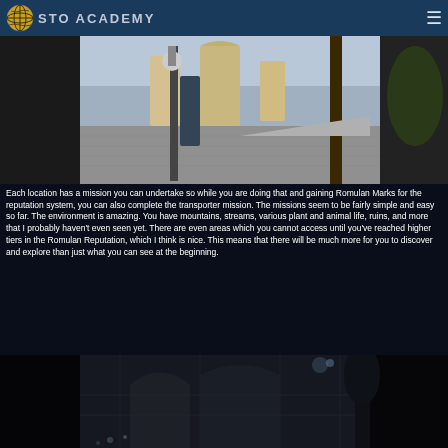STO ACADEMY
[Figure (screenshot): In-game screenshot showing a sci-fi alien city environment with columns, arches, and structures visible in daylight]
Each location has a mission you can undertake so while you are doing that and gaining Romulan Marks for the reputation system, you can also complete the transporter mission. The missions seem to be fairly simple and easy so far. The environment is amazing. You have mountains, streams, various plant and animal life, ruins, and more that I probably haven't even seen yet. There are even areas which you cannot access until you've reached higher tiers in the Romulan Reputation, which I think is nice. This means that there will be much more for you to discover and explore than just what you can see at the beginning.
[Figure (screenshot): In-game screenshot showing a dark stone ruin environment at night or dusk with trees and glowing lights]